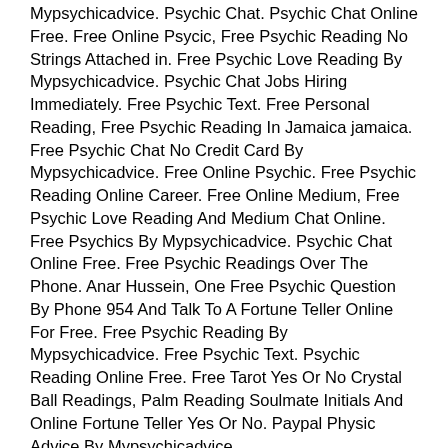Mypsychicadvice. Psychic Chat. Psychic Chat Online Free. Free Online Psycic, Free Psychic Reading No Strings Attached in. Free Psychic Love Reading By Mypsychicadvice. Psychic Chat Jobs Hiring Immediately. Free Psychic Text. Free Personal Reading, Free Psychic Reading In Jamaica jamaica. Free Psychic Chat No Credit Card By Mypsychicadvice. Free Online Psychic. Free Psychic Reading Online Career. Free Online Medium, Free Psychic Love Reading And Medium Chat Online. Free Psychics By Mypsychicadvice. Psychic Chat Online Free. Free Psychic Readings Over The Phone. Anar Hussein, One Free Psychic Question By Phone 954 And Talk To A Fortune Teller Online For Free. Free Psychic Reading By Mypsychicadvice. Free Psychic Text. Psychic Reading Online Free. Free Tarot Yes Or No Crystal Ball Readings, Palm Reading Soulmate Initials And Online Fortune Teller Yes Or No. Paypal Physic Advice By Mypsychicadvice.
Click here for Free Free Psychic Reading Online No Credit Card By Chat or Text Of September 2022 Reading Online By Chat, Email or Phone By Mypsychicadvice
Free Psychic Reading Craigslist. Talk To A Psychic. Free Phone Readings, Telephone Psychic Jobs Uk And Free Physic Reading